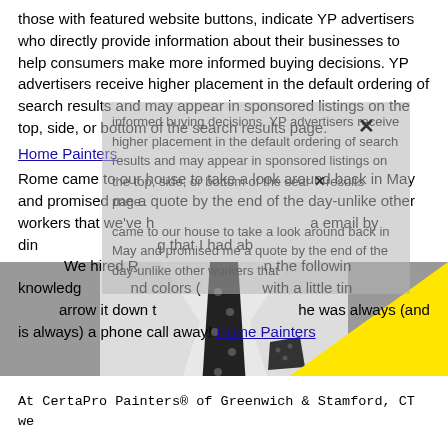those with featured website buttons, indicate YP advertisers who directly provide information about their businesses to help consumers make more informed buying decisions. YP advertisers receive higher placement in the default ordering of search results and may appear in sponsored listings on the top, side, or bottom of the search results page.
Home Painters
Rome came to our house to take a look around back in May and promised me a quote by the end of the day-unlike other workers that we've h... a email by din... g that I had ab... We hired R... n the followin... knowledg... nd colors (... with a little tin... arrow it down t... he was always (and is always) a phone call away! Home Painters
[Figure (photo): Black and white photo of a man in a suit with a polka dot tie and matching pocket square, partially obscured by a bright yellow triangle overlay]
At CertaPro Painters® of Greenwich & Stamford, CT we offer a variety of interior and exterior home painting and staining services, including your home's deck and fencing. Regardless of the room inside your home that